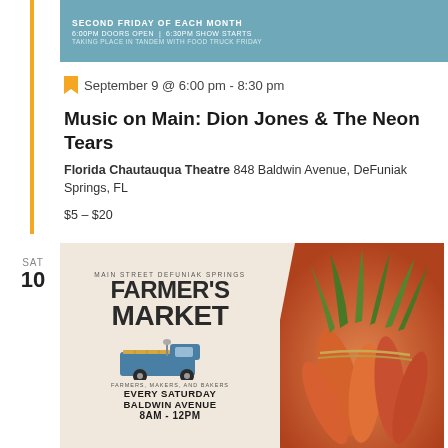[Figure (illustration): Teal/blue banner with text: SECOND FRIDAY OF EACH MONTH, 6:00PM DOORS OPEN | 6:30PM SHOW STARTS, TAKING PLACE IN TANDEM WITH FOOD TRUCK FRIDAY]
September 9 @ 6:00 pm - 8:30 pm
Music on Main: Dion Jones & The Neon Tears
Florida Chautauqua Theatre 848 Baldwin Avenue, DeFuniak Springs, FL
$5 – $20
SAT
10
[Figure (illustration): Farmer's Market promotional image: left half cream background with text 'MAIN STREET DEFUNIAK SPRINGS FARMER'S MARKET' with blue truck illustration, 'FARMERS, MAKERS, AND BAKERS EVERY SATURDAY BALDWIN AVENUE 8AM - 12PM'; right half photo of fresh carrots with green tops]